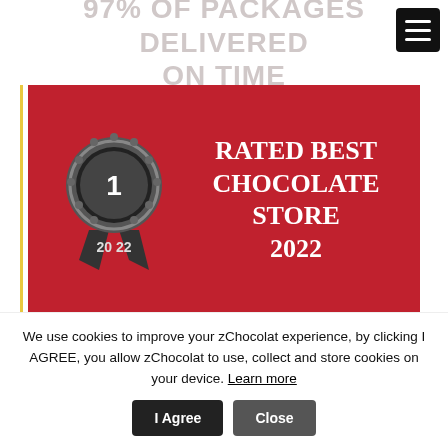[Figure (screenshot): Website screenshot showing '97% OF PACKAGES DELIVERED ON TIME' faded text at top, a red award banner reading 'RATED BEST CHOCOLATE STORE 2022' with a #1 rosette badge, and a black banner reading 'WORLD CHAMPION' with trophy icon. A hamburger menu button is in the top right corner.]
We use cookies to improve your zChocolat experience, by clicking I AGREE, you allow zChocolat to use, collect and store cookies on your device. Learn more
I Agree
Close